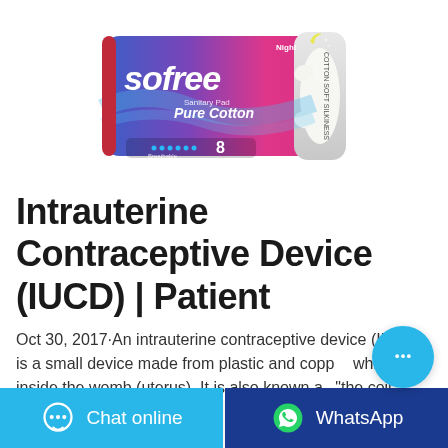[Figure (photo): Sofree Night Pure Cotton sanitary pad product packaging, blue and pink packaging with 8 pads, on white background]
Intrauterine Contraceptive Device (IUCD) | Patient
Oct 30, 2017·An intrauterine contraceptive device (IUCD) is a small device made from plastic and copper which sits inside the womb (uterus). It is also known as "the coil". Two threads are attached to the IUCD and
Chat online
WhatsApp